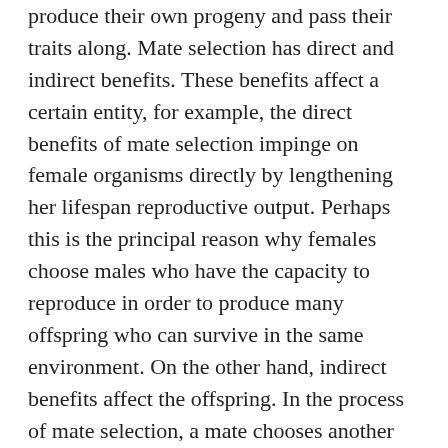produce their own progeny and pass their traits along. Mate selection has direct and indirect benefits. These benefits affect a certain entity, for example, the direct benefits of mate selection impinge on female organisms directly by lengthening her lifespan reproductive output. Perhaps this is the principal reason why females choose males who have the capacity to reproduce in order to produce many offspring who can survive in the same environment. On the other hand, indirect benefits affect the offspring. In the process of mate selection, a mate chooses another with exacting complimentary traits. The chooser benefits directly simply because, the particularly favorable trait passes down to the offspring. For instance, in the fish species, the female prefers males with eggs already in the breeding zone as compared to those that do not have. The main reason for this preference is that the father is there to ensure protection until the eggs hatch. This is a direct benefit to the offspring since it directly impacts the